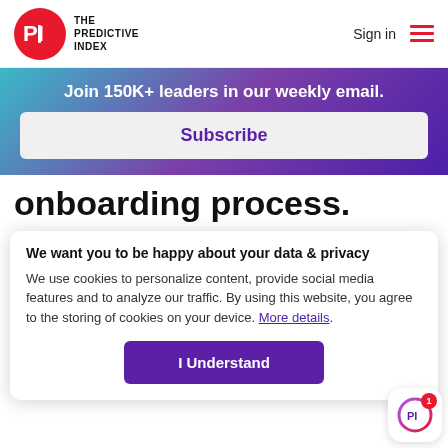The Predictive Index — Sign in
[Figure (infographic): Email subscription banner with gradient background (teal to purple). Text: 'Join 150K+ leaders in our weekly email.' with a Subscribe button.]
onboarding process.
An effective onboarding process helps new employees ramp up faster  and stay longer. If you don't currently have
We want you to be happy about your data & privacy
We use cookies to personalize content, provide social media features and to analyze our traffic. By using this website, you agree to the storing of cookies on your device. More details.
I Understand